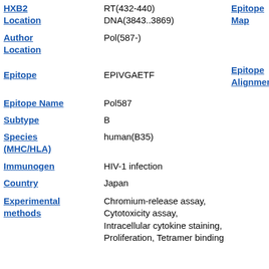| HXB2 Location | RT(432-440)
DNA(3843..3869) | Epitope Map |
| Author Location | Pol(587-) |  |
| Epitope | EPIVGAETF | Epitope Alignment |
| Epitope Name | Pol587 |  |
| Subtype | B |  |
| Species (MHC/HLA) | human(B35) |  |
| Immunogen | HIV-1 infection |  |
| Country | Japan |  |
| Experimental methods | Chromium-release assay, Cytotoxicity assay, Intracellular cytokine staining, Proliferation, Tetramer binding |  |